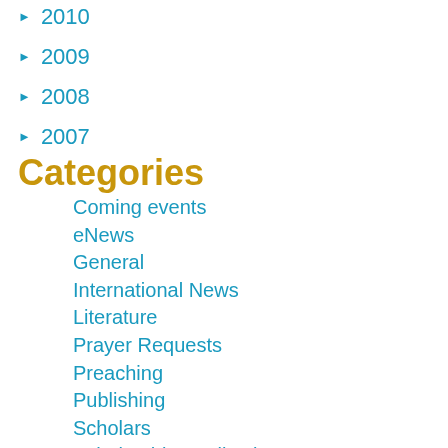► 2010
► 2009
► 2008
► 2007
Categories
Coming events
eNews
General
International News
Literature
Prayer Requests
Preaching
Publishing
Scholars
Scholarship Applications